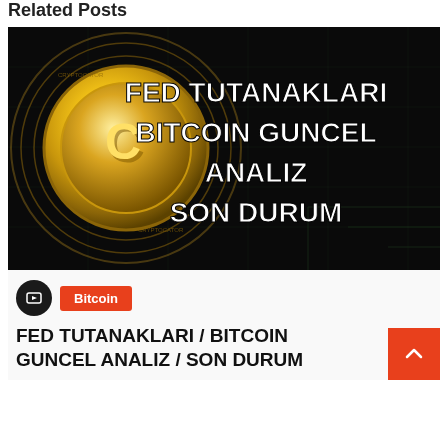Related Posts
[Figure (illustration): Thumbnail image with black background showing a golden Bitcoin/Cryptocator coin on the left with circular tech patterns, and bold white text on the right reading: FED TUTANAKLARI BITCOIN GUNCEL ANALIZ SON DURUM]
Bitcoin
FED TUTANAKLARI / BITCOIN GUNCEL ANALIZ / SON DURUM